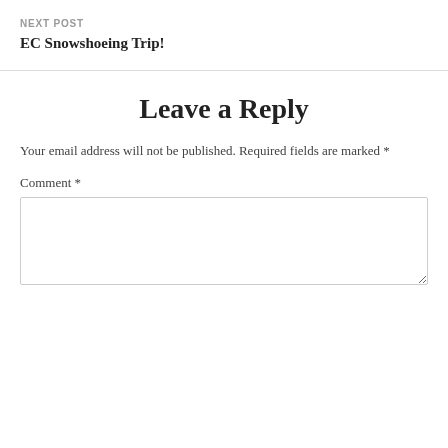NEXT POST
EC Snowshoeing Trip!
Leave a Reply
Your email address will not be published. Required fields are marked *
Comment *